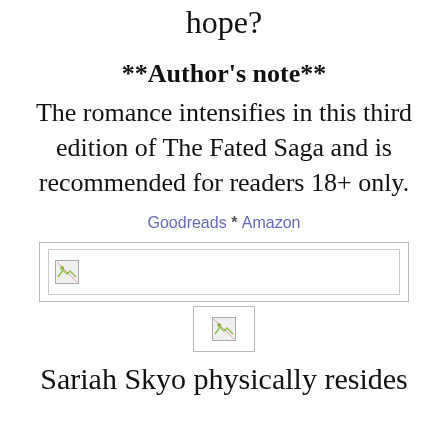hope?
**Author's note**
The romance intensifies in this third edition of The Fated Saga and is recommended for readers 18+ only.
Goodreads * Amazon
[Figure (other): Broken/missing image placeholder in a bordered box]
[Figure (other): Small broken/missing image placeholder]
Sariah Skyo physically resides